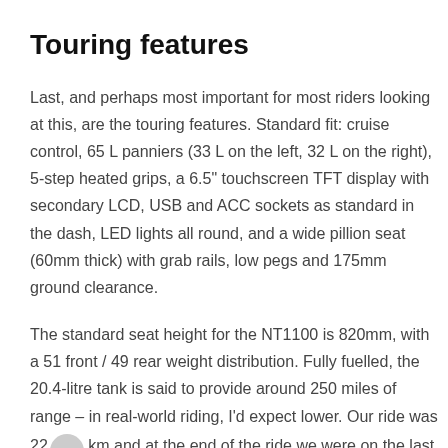Touring features
Last, and perhaps most important for most riders looking at this, are the touring features. Standard fit: cruise control, 65 L panniers (33 L on the left, 32 L on the right), 5-step heated grips, a 6.5" touchscreen TFT display with secondary LCD, USB and ACC sockets as standard in the dash, LED lights all round, and a wide pillion seat (60mm thick) with grab rails, low pegs and 175mm ground clearance.
The standard seat height for the NT1100 is 820mm, with a 51 front / 49 rear weight distribution. Fully fuelled, the 20.4-litre tank is said to provide around 250 miles of range – in real-world riding, I'd expect lower. Our ride was 220 km and at the end of the ride we were on the last bar.